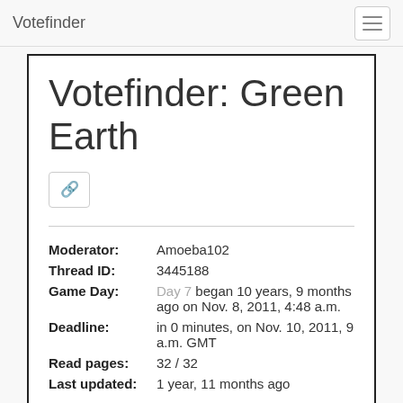Votefinder
Votefinder: Green Earth
| Field | Value |
| --- | --- |
| Moderator: | Amoeba102 |
| Thread ID: | 3445188 |
| Game Day: | Day 7 began 10 years, 9 months ago on Nov. 8, 2011, 4:48 a.m. |
| Deadline: | in 0 minutes, on Nov. 10, 2011, 9 a.m. GMT |
| Read pages: | 32 / 32 |
| Last updated: | 1 year, 11 months ago |